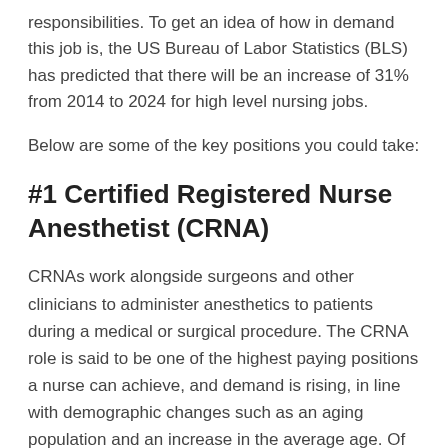responsibilities. To get an idea of how in demand this job is, the US Bureau of Labor Statistics (BLS) has predicted that there will be an increase of 31% from 2014 to 2024 for high level nursing jobs.
Below are some of the key positions you could take:
#1 Certified Registered Nurse Anesthetist (CRNA)
CRNAs work alongside surgeons and other clinicians to administer anesthetics to patients during a medical or surgical procedure. The CRNA role is said to be one of the highest paying positions a nurse can achieve, and demand is rising, in line with demographic changes such as an aging population and an increase in the average age. Of interest is the fact that just 52% of all DNP programs across the country award a CRNA license.